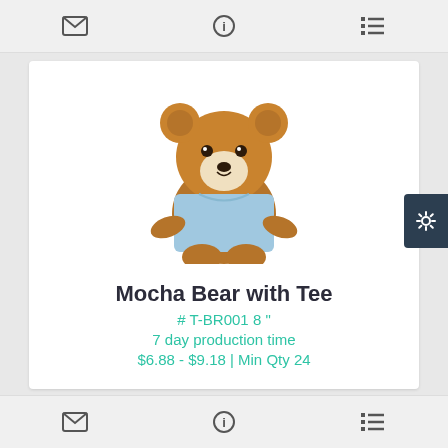[Figure (screenshot): Top navigation bar with envelope, info, and list icons on light gray background]
[Figure (photo): Stuffed teddy bear (mocha brown) wearing a light blue t-shirt, product photo on white background]
Mocha Bear with Tee
# T-BR001 8 "
7 day production time
$6.88 - $9.18 | Min Qty 24
[Figure (screenshot): Bottom navigation bar with envelope, info, and list icons on light gray background]
[Figure (screenshot): Dark blue gear/settings button on right side edge]